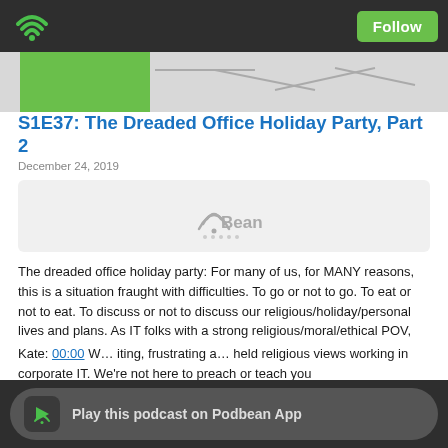Podbean app header with wifi icon and Follow button
[Figure (screenshot): Podcast thumbnail strip showing green image on left and decorative lines on right]
S1E37: The Dreaded Office Holiday Party, Part 2
December 24, 2019
[Figure (screenshot): PodBean audio player widget in grey box]
The dreaded office holiday party: For many of us, for MANY reasons, this is a situation fraught with difficulties. To go or not to go. To eat or not to eat. To discuss or not to discuss our religious/holiday/personal lives and plans. As IT folks with a strong religious/moral/ethical POV, navigating this ONE (supposedly optional) yearly occurrence can be the cause of more stress than any other event. In this episode we'll unpack the what and why, and - like the IT pros we are, offer advice on how to navigate through this seasonal obstacle course. Listen or read the transcript below.
Kate: 00:00 ... iting, frustrating a... held religious views working in corporate IT. We're not here to preach or teach you
[Figure (screenshot): Play this podcast on Podbean App button bar at bottom]